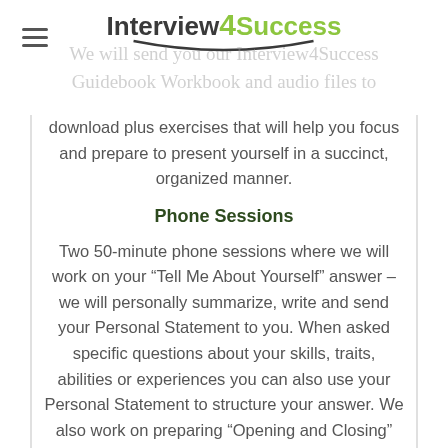Interview4Success
We will send you our Interview4Success Guidebook Workbook and audio files to download plus exercises that will help you focus and prepare to present yourself in a succinct, organized manner.
Phone Sessions
Two 50-minute phone sessions where we will work on your “Tell Me About Yourself” answer – we will personally summarize, write and send your Personal Statement to you. When asked specific questions about your skills, traits, abilities or experiences you can also use your Personal Statement to structure your answer. We also work on preparing “Opening and Closing” statements as well